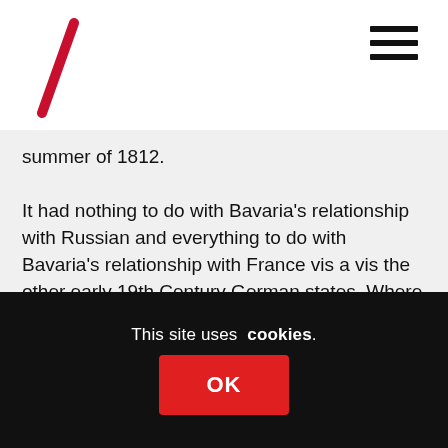summer of 1812.

It had nothing to do with Bavaria's relationship with Russian and everything to do with Bavaria's relationship with France vis a vis the other early 19th Century German states. Where Imperial France trod so to did the auxiliaries. Where 21cent USA treads , so to does the auxiliaries. A perspective the British establishment and the BBC would find offensdive.
Reply
This site uses cookies.
OK